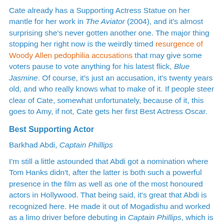Cate already has a Supporting Actress Statue on her mantle for her work in The Aviator (2004), and it's almost surprising she's never gotten another one. The major thing stopping her right now is the weirdly timed resurgence of Woody Allen pedophilia accusations that may give some voters pause to vote anything for his latest flick, Blue Jasmine. Of course, it's just an accusation, it's twenty years old, and who really knows what to make of it. If people steer clear of Cate, somewhat unfortunately, because of it, this goes to Amy, if not, Cate gets her first Best Actress Oscar.
Best Supporting Actor
Barkhad Abdi, Captain Phillips
I'm still a little astounded that Abdi got a nomination where Tom Hanks didn't, after the latter is both such a powerful presence in the film as well as one of the most honoured actors in Hollywood. That being said, it's great that Abdi is recognized here. He made it out of Mogadishu and worked as a limo driver before debuting in Captain Phillips, which is his first acting experience. It would be an incredible success